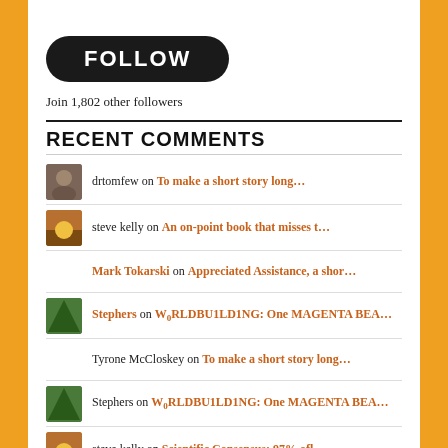[Figure (other): FOLLOW button — dark rounded rectangle with white bold text]
Join 1,802 other followers
RECENT COMMENTS
drtomfew on To make a short story long…
steve kelly on An on-point book that misses t…
Mark Tokarski on Appreciated Assistance, a shor…
Stephers on W0RLDB U1LD1NG: One MAGENTA BEA…
Tyrone McCloskey on To make a short story long…
Stephers on W0RLDBU1LD1NG: One MAGENTA BEA…
steve kelly on Scientific Consensus: 97% ofl…
TimR on Scientific Consensus: 97% ofl…
TimR on Scientific Consensus: 97% ofl…